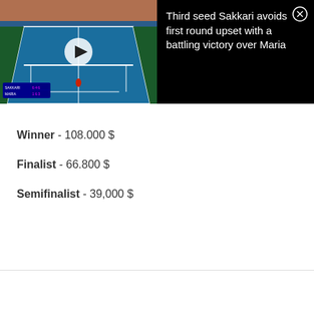[Figure (screenshot): A video thumbnail showing a tennis court (blue hard court) viewed from above with a play button overlay, and a black panel on the right showing the article title 'Third seed Sakkari avoids first round upset with a battling victory over Maria' with an X close button.]
Winner - 108.000 $
Finalist - 66.800 $
Semifinalist - 39,000 $